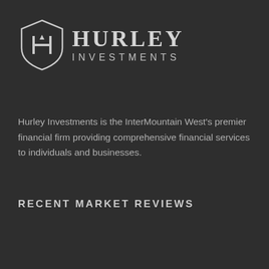[Figure (logo): Hurley Investments logo — shield with H emblem on left, HURLEY in large serif text and INVESTMENTS in smaller spaced sans-serif text on right]
Hurley Investments is the InterMountain West's premier financial firm providing comprehensive financial services to individuals and businesses.
RECENT MARKET REVIEWS